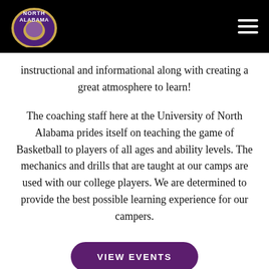North Alabama (logo) | navigation menu
instructional and informational along with creating a great atmosphere to learn!
The coaching staff here at the University of North Alabama prides itself on teaching the game of Basketball to players of all ages and ability levels. The mechanics and drills that are taught at our camps are used with our college players. We are determined to provide the best possible learning experience for our campers.
VIEW EVENTS